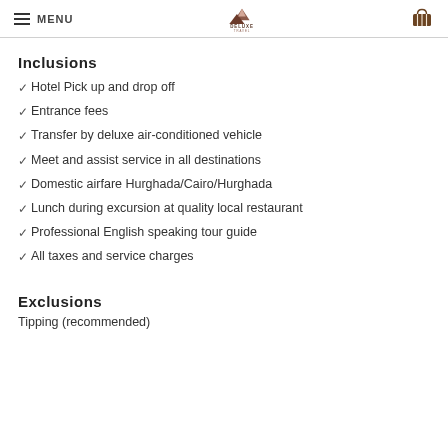MENU | DELUXE TRAVEL
Inclusions
✓ Hotel Pick up and drop off
✓ Entrance fees
✓ Transfer by deluxe air-conditioned vehicle
✓ Meet and assist service in all destinations
✓ Domestic airfare Hurghada/Cairo/Hurghada
✓ Lunch during excursion at quality local restaurant
✓ Professional English speaking tour guide
✓ All taxes and service charges
Exclusions
Tipping (recommended)